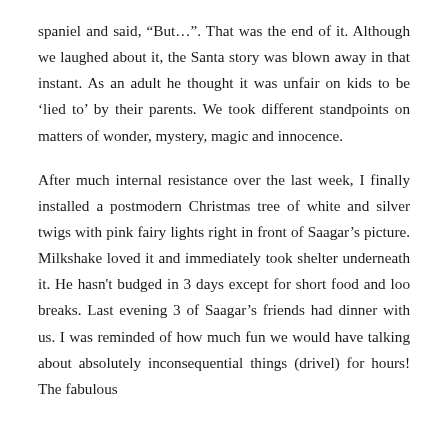spaniel and said, “But…”. That was the end of it. Although we laughed about it, the Santa story was blown away in that instant. As an adult he thought it was unfair on kids to be ‘lied to’ by their parents. We took different standpoints on matters of wonder, mystery, magic and innocence.
After much internal resistance over the last week, I finally installed a postmodern Christmas tree of white and silver twigs with pink fairy lights right in front of Saagar’s picture. Milkshake loved it and immediately took shelter underneath it. He hasn't budged in 3 days except for short food and loo breaks. Last evening 3 of Saagar’s friends had dinner with us. I was reminded of how much fun we would have talking about absolutely inconsequential things (drivel) for hours! The fabulous